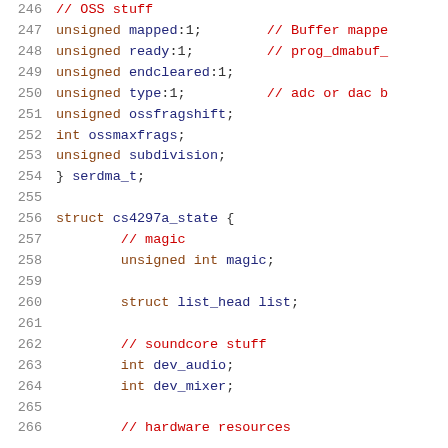Source code listing lines 246-266, C struct definitions for serdma_t and cs4297a_state